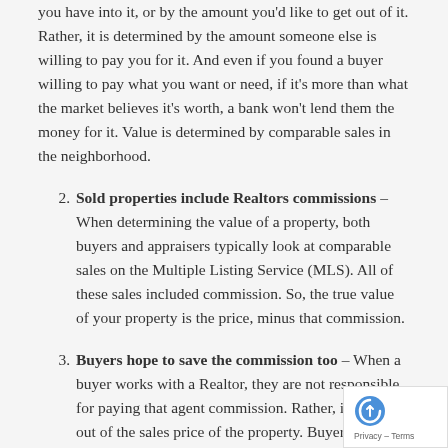you have into it, or by the amount you'd like to get out of it. Rather, it is determined by the amount someone else is willing to pay you for it. And even if you found a buyer willing to pay what you want or need, if it's more than what the market believes it's worth, a bank won't lend them the money for it. Value is determined by comparable sales in the neighborhood.
Sold properties include Realtors commissions – When determining the value of a property, both buyers and appraisers typically look at comparable sales on the Multiple Listing Service (MLS). All of these sales included commission. So, the true value of your property is the price, minus that commission.
Buyers hope to save the commission too – When a buyer works with a Realtor, they are not responsible for paying that agent commission. Rather, it is taken out of the sales price of the property. Buyers benefit from an agents knowledge of the market, experience in negotiations, and guidance throughout the process without paying a thing. Why would they work with For Sale By Owner unless: a) that owner agreed to p... their agent or b) agreed to pass the savings on to th...